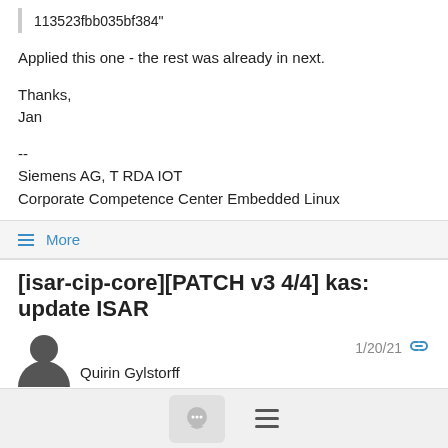113523fbb035bf384"
Applied this one - the rest was already in next.
Thanks,
Jan
--
Siemens AG, T RDA IOT
Corporate Competence Center Embedded Linux
≡ More
[isar-cip-core][PATCH v3 4/4] kas: update ISAR
Quirin Gylstorff   1/20/21
From: Quirin Gylstorff <quirin.gylstorff@...>